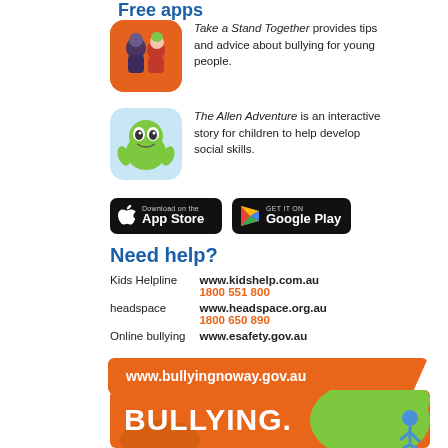Free apps
Take a Stand Together provides tips and advice about bullying for young people.
The Allen Adventure is an interactive story for children to help develop social skills.
[Figure (other): Download on the App Store button]
[Figure (other): Get it on Google Play button]
Need help?
| Kids Helpline | www.kidshelp.com.au | 1800 551 800 |
| headspace | www.headspace.org.au | 1800 650 890 |
| Online bullying | www.esafety.gov.au |  |
www.bullyingnoway.gov.au
[Figure (illustration): Bullying. No Way! colourful graffiti-style logo banner]